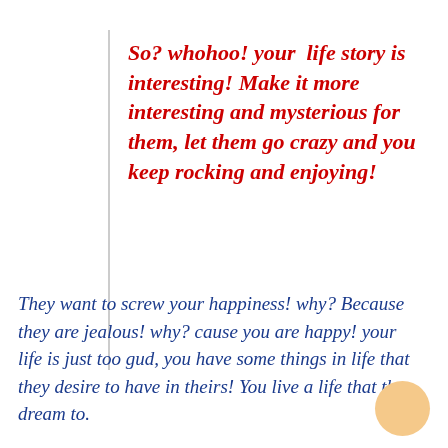So? whohoo! your  life story is interesting! Make it more interesting and mysterious for them, let them go crazy and you keep rocking and enjoying!
They want to screw your happiness! why? Because they are jealous! why? cause you are happy! your life is just too gud, you have some things in life that they desire to have in theirs! You live a life that they dream to.